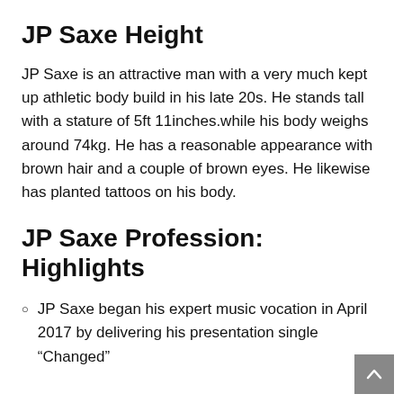JP Saxe Height
JP Saxe is an attractive man with a very much kept up athletic body build in his late 20s. He stands tall with a stature of 5ft 11inches.while his body weighs around 74kg. He has a reasonable appearance with brown hair and a couple of brown eyes. He likewise has planted tattoos on his body.
JP Saxe Profession: Highlights
JP Saxe began his expert music vocation in April 2017 by delivering his presentation single “Changed”